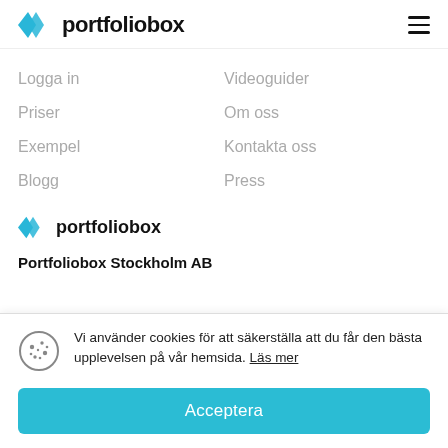portfoliobox
Logga in
Priser
Exempel
Blogg
Videoguider
Om oss
Kontakta oss
Press
[Figure (logo): Portfoliobox logo with blue diamond icon and text 'portfoliobox']
Portfoliobox Stockholm AB
Vi använder cookies för att säkerställa att du får den bästa upplevelsen på vår hemsida. Läs mer
Acceptera